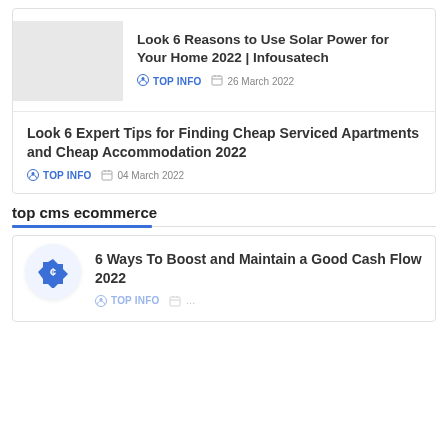Look 6 Reasons to Use Solar Power for Your Home 2022 | Infousatech — TOP INFO — 26 March 2022
Look 6 Expert Tips for Finding Cheap Serviced Apartments and Cheap Accommodation 2022 — TOP INFO — 04 March 2022
top cms ecommerce
6 Ways To Boost and Maintain a Good Cash Flow 2022 — TOP INFO